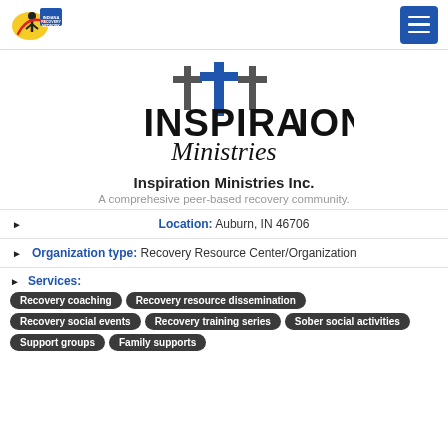Indiana Recovery Network logo and navigation menu
[Figure (logo): Inspiration Ministries logo with cross imagery and bold INSPIRATION text with cursive Ministries]
Inspiration Ministries Inc.
A comprehesive peer-based recovery community.
Location: Auburn, IN 46706
Organization type: Recovery Resource Center/Organization
Services: Recovery coaching, Recovery resource dissemination, Recovery social events, Recovery training series, Sober social activities, Support groups, Family supports